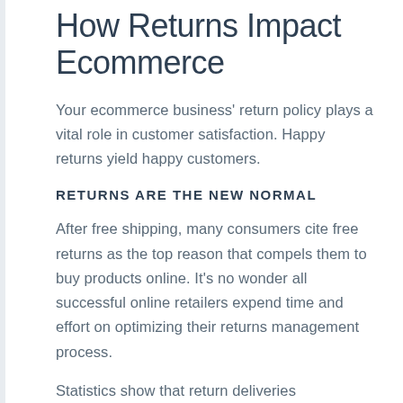How Returns Impact Ecommerce
Your ecommerce business' return policy plays a vital role in customer satisfaction. Happy returns yield happy customers.
RETURNS ARE THE NEW NORMAL
After free shipping, many consumers cite free returns as the top reason that compels them to buy products online. It's no wonder all successful online retailers expend time and effort on optimizing their returns management process.
Statistics show that return deliveries